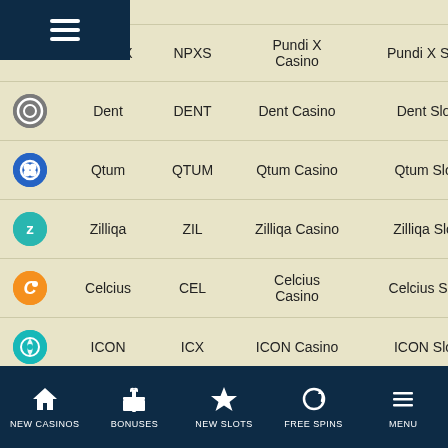|  | Name | Code | Casino | Slots | Live Casino | Blackjack |
| --- | --- | --- | --- | --- | --- | --- |
|  | Pundi X | NPXS | Pundi X Casino | Pundi X Slots | Pundi X Live Casino | Pundi X Blackjack |
| Dent icon | Dent | DENT | Dent Casino | Dent Slots | Dent Live Casino | Dent Blackjack |
| Qtum icon | Qtum | QTUM | Qtum Casino | Qtum Slots | Qtum Live Casino | Qtum Blackjack |
| Zilliqa icon | Zilliqa | ZIL | Zilliqa Casino | Zilliqa Slots | Zilliqa Live Casino | Zilliqa Blackjack |
| Celcius icon | Celcius | CEL | Celcius Casino | Celcius Slots | Celcius Live Casino | Celcius Blackjack |
| ICON icon | ICON | ICX | ICON Casino | ICON Slots | ICON Live Casino | ICON Blackjack |
|  | Voyager |  |  |  |  | Voyager... |